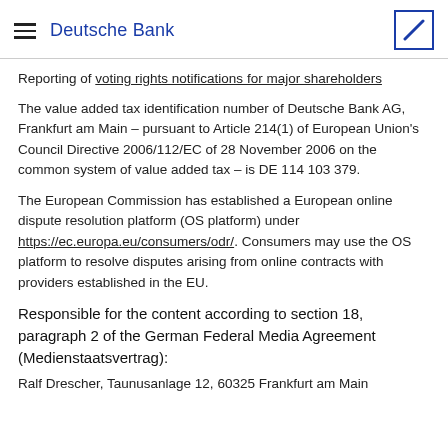Deutsche Bank
Reporting of voting rights notifications for major shareholders
The value added tax identification number of Deutsche Bank AG, Frankfurt am Main – pursuant to Article 214(1) of European Union's Council Directive 2006/112/EC of 28 November 2006 on the common system of value added tax – is DE 114 103 379.
The European Commission has established a European online dispute resolution platform (OS platform) under https://ec.europa.eu/consumers/odr/. Consumers may use the OS platform to resolve disputes arising from online contracts with providers established in the EU.
Responsible for the content according to section 18, paragraph 2 of the German Federal Media Agreement (Medienstaatsvertrag):
Ralf Drescher, Taunusanlage 12, 60325 Frankfurt am Main